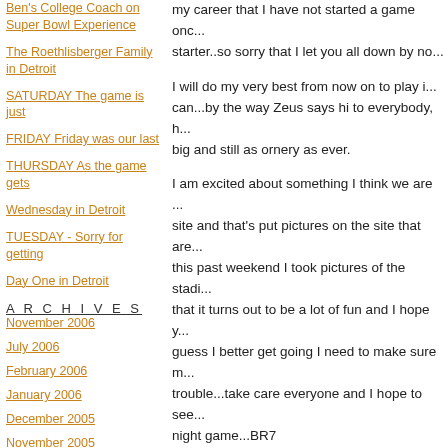Ben's College Coach on Super Bowl Experience
The Roethlisberger Family in Detroit
SATURDAY The game is just
FRIDAY Friday was our last
THURSDAY As the game gets
Wednesday in Detroit
TUESDAY - Sorry for getting
Day One in Detroit
A R C H I V E S
November 2006
July 2006
February 2006
January 2006
December 2005
November 2005
October 2005
September 2005
my career that I have not started a game onc... starter..so sorry that I let you all down by no...
I will do my very best from now on to play i... can...by the way Zeus says hi to everybody, h... big and still as ornery as ever.
I am excited about something I think we are ... site and that's put pictures on the site that are... this past weekend I took pictures of the stadi... that it turns out to be a lot of fun and I hope y... guess I better get going I need to make sure m... trouble...take care everyone and I hope to see... night game...BR7
October 24, 2005 | Permalink
Comments
[Figure (photo): Small square photo/image with blue-green tones]